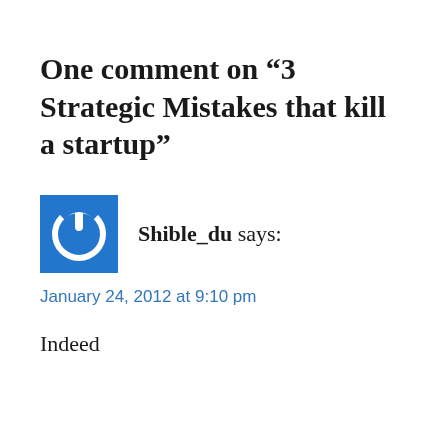One comment on “3 Strategic Mistakes that kill a startup”
[Figure (illustration): Blue square avatar icon with white power button symbol]
Shible_du says:
January 24, 2012 at 9:10 pm
Indeed